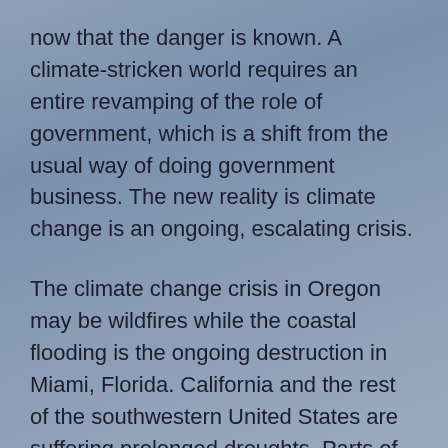now that the danger is known. A climate-stricken world requires an entire revamping of the role of government, which is a shift from the usual way of doing government business. The new reality is climate change is an ongoing, escalating crisis.
The climate change crisis in Oregon may be wildfires while the coastal flooding is the ongoing destruction in Miami, Florida. California and the rest of the southwestern United States are suffering prolonged droughts. Parts of Germany and Belgium are inundated with swollen rivers while the Indian